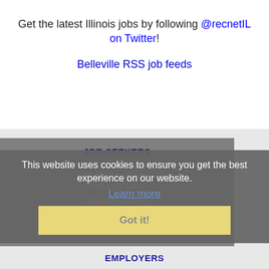Get the latest Illinois jobs by following @recnetIL on Twitter!
Belleville RSS job feeds
JOB SEEKERS
Search Belleville jobs
Post your resume
Email job alerts
This website uses cookies to ensure you get the best experience on our website.
Learn more
Register / Log in
Got it!
EMPLOYERS